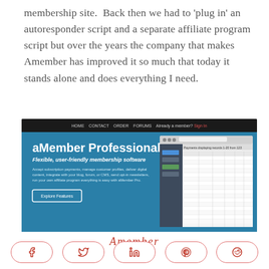membership site.  Back then we had to 'plug in' an autoresponder script and a separate affiliate program script but over the years the company that makes Amember has improved it so much that today it stands alone and does everything I need.
[Figure (screenshot): Screenshot of the aMember Professional website homepage showing navigation bar with HOME, CONTACT, ORDER, FORUMS, Already a member? Sign in, a teal/blue background with the headline 'aMember Professional', subtitle 'Flexible, user-friendly membership software', descriptive text, an Explore Features button, and a browser screenshot of the admin dashboard on the right side.]
Amember
[Figure (infographic): Social sharing buttons: Facebook, Twitter, LinkedIn, Pinterest, Reddit]